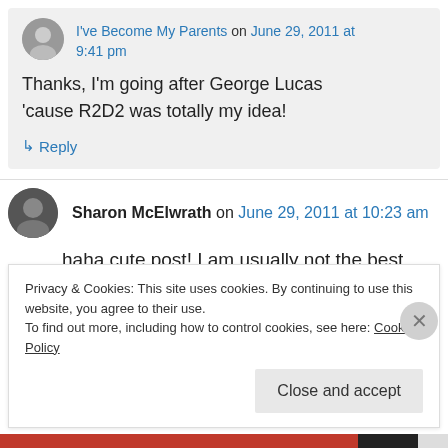I've Become My Parents on June 29, 2011 at 9:41 pm
Thanks, I'm going after George Lucas 'cause R2D2 was totally my idea!
↳ Reply
Sharon McElwrath on June 29, 2011 at 10:23 am
haha cute post! I am usually not the best about
Privacy & Cookies: This site uses cookies. By continuing to use this website, you agree to their use.
To find out more, including how to control cookies, see here: Cookie Policy
Close and accept